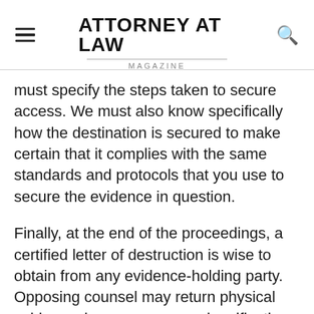ATTORNEY AT LAW MAGAZINE
must specify the steps taken to secure access. We must also know specifically how the destination is secured to make certain that it complies with the same standards and protocols that you use to secure the evidence in question.
Finally, at the end of the proceedings, a certified letter of destruction is wise to obtain from any evidence-holding party. Opposing counsel may return physical evidence, however you need verification that any electronic evidence is removed from systems outside of your